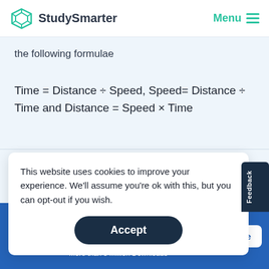StudySmarter  Menu
the following formulae
This website uses cookies to improve your experience. We'll assume you're ok with this, but you can opt-out if you wish.
Accept
can be shown using something called a speed
StudySmarter - The all-in-one study app. ★★★★★ 4.8 · +11k Ratings More than 3 Million Downloads Free